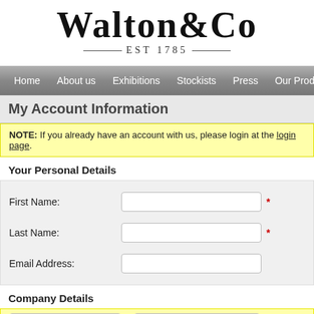[Figure (logo): Walton & Co logo with serif font, EST 1785 below with decorative lines]
Home | About us | Exhibitions | Stockists | Press | Our Products
My Account Information
NOTE: If you already have an account with us, please login at the login page.
Your Personal Details
| Label | Input | Required |
| --- | --- | --- |
| First Name: |  | * |
| Last Name: |  | * |
| Email Address: |  |  |
Company Details